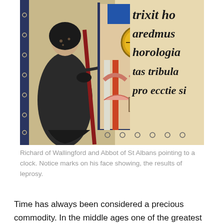[Figure (illustration): Medieval manuscript illumination showing Richard of Wallingford, Abbot of St Albans, in dark robes holding a staff and pointing to an ornate clock with Gothic architectural detail. Latin text visible on the right side of the image.]
Richard of Wallingford and Abbot of St Albans pointing to a clock. Notice marks on his face showing, the results of leprosy.
Time has always been considered a precious commodity. In the middle ages one of the greatest preachers and orators was Bertold of Regensburg (1220-1272) . Time, he